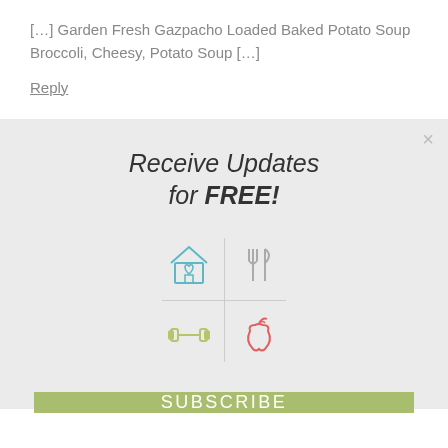[…] Garden Fresh Gazpacho Loaded Baked Potato Soup Broccoli, Cheesy, Potato Soup […]
Reply
[Figure (infographic): Newsletter signup modal with title 'Receive Updates for FREE!' and four icons in a 2x2 grid (house with heart, fork and knife, dumbbell, apple), separated by cross lines, and a green SUBSCRIBE button at the bottom. Has a close X button in top right.]